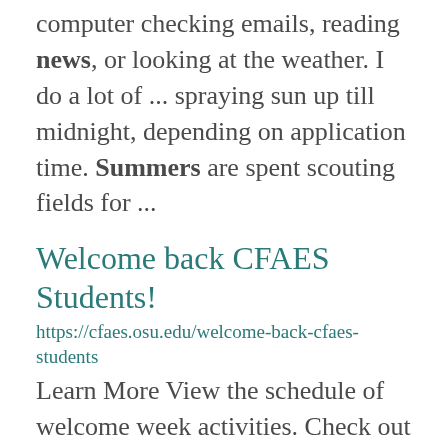computer checking emails, reading news, or looking at the weather. I do a lot of ... spraying sun up till midnight, depending on application time. Summers are spent scouting fields for ...
Welcome back CFAES Students!
https://cfaes.osu.edu/welcome-back-cfaes-students
Learn More View the schedule of welcome week activities. Check out the full schedule of welcome week activities. ...
OSU Viticulture Program Wins Two National Awards for Best